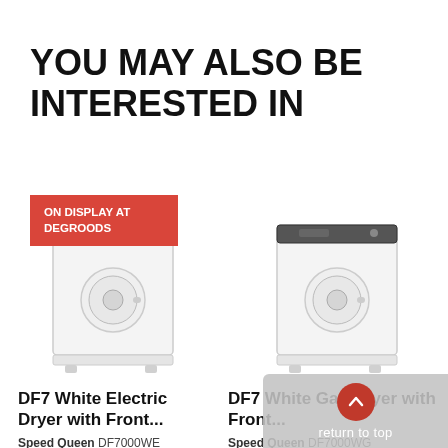YOU MAY ALSO BE INTERESTED IN
[Figure (photo): White front-load electric dryer appliance with 'ON DISPLAY AT DEGROODS' badge overlay]
DF7 White Electric Dryer with Front...
Speed Queen DF7000WE
[Figure (photo): White front-load gas dryer appliance]
DF7 White Gas Dryer with Front...
Speed Queen DF7000WG